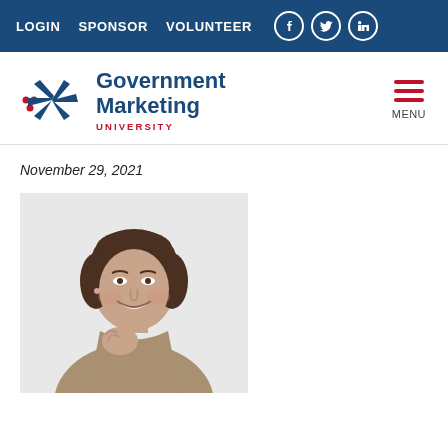LOGIN  SPONSOR  VOLUNTEER
[Figure (logo): Government Marketing University logo with stylized star/asterisk icon in navy and red]
November 29, 2021
[Figure (photo): Professional headshot of a woman with short dark hair wearing a taupe/grey sweater, smiling with hand near chin]